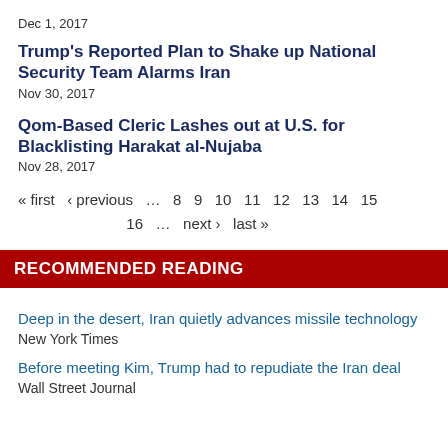Dec 1, 2017
Trump’s Reported Plan to Shake up National Security Team Alarms Iran
Nov 30, 2017
Qom-Based Cleric Lashes out at U.S. for Blacklisting Harakat al-Nujaba
Nov 28, 2017
« first  ‹ previous  …  8  9  10  11  12  13  14  15  16  …  next ›  last »
RECOMMENDED READING
Deep in the desert, Iran quietly advances missile technology
New York Times
Before meeting Kim, Trump had to repudiate the Iran deal
Wall Street Journal